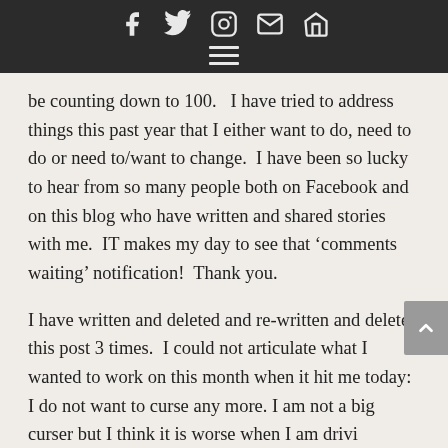Social icons: Facebook, Twitter, Instagram, Email, Home. Hamburger menu icon.
be counting down to 100.   I have tried to address things this past year that I either want to do, need to do or need to/want to change.  I have been so lucky to hear from so many people both on Facebook and on this blog who have written and shared stories with me.  IT makes my day to see that ‘comments waiting’ notification!  Thank you.
I have written and deleted and re-written and deleted this post 3 times.  I could not articulate what I wanted to work on this month when it hit me today:  I do not want to curse any more. I am not a big curser but I think it is worse when I am drivi... Today I drove back and forth to my White Plains office and that NYS Thruway ages me at least 3